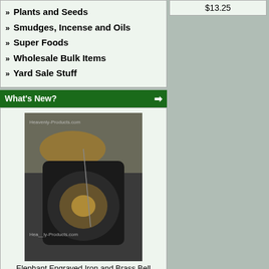» Plants and Seeds
» Smudges, Incense and Oils
» Super Foods
» Wholesale Bulk Items
» Yard Sale Stuff
What's New?
[Figure (photo): Elephant Engraved Iron and Brass Bell product photo with Heavenly-Products.com watermark]
Elephant Engraved Iron and Brass Bell
$69.96 $54.45
Latest News
Plant Health Care Division
Plant Care Community and Network
Join Us On Facebook!
Smart Movies (Updated 04-19-2020)
Paypal
AYAHUASCA HEALING - A SPIRITUAL QUEST
Notice to all Heavenly Products Customers and Visitors:
Healing Music - Music Heals (Updated- 04-19-2020)
News For August- (updated 8-18-2022)
$13.25